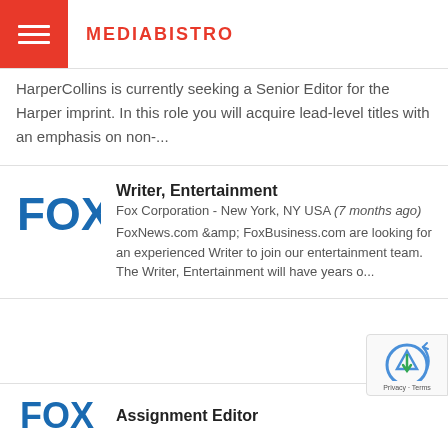MEDIABISTRO
HarperCollins is currently seeking a Senior Editor for the Harper imprint. In this role you will acquire lead-level titles with an emphasis on non-...
[Figure (logo): FOX corporation logo in blue text]
Writer, Entertainment
Fox Corporation - New York, NY USA (7 months ago)
FoxNews.com &amp; FoxBusiness.com are looking for an experienced Writer to join our entertainment team. The Writer, Entertainment will have years o...
[Figure (logo): FOX corporation logo in blue text, partial]
Assignment Editor